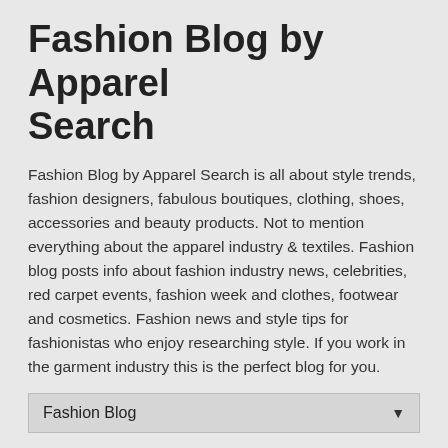Fashion Blog by Apparel Search
Fashion Blog by Apparel Search is all about style trends, fashion designers, fabulous boutiques, clothing, shoes, accessories and beauty products. Not to mention everything about the apparel industry & textiles. Fashion blog posts info about fashion industry news, celebrities, red carpet events, fashion week and clothes, footwear and cosmetics. Fashion news and style tips for fashionistas who enjoy researching style. If you work in the garment industry this is the perfect blog for you.
Fashion Blog ▼
Home » London Fashion Week » London Fashion Week AW15 Live
Tuesday, February 17, 2015
London Fashion Week AW15 Live